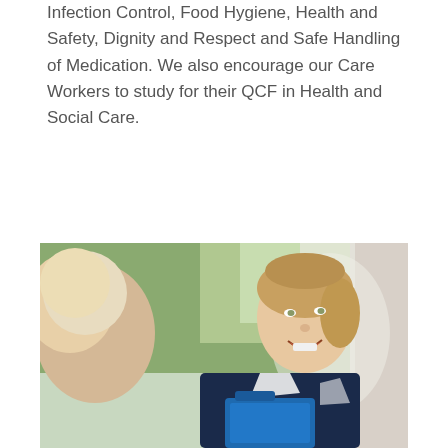Infection Control, Food Hygiene, Health and Safety, Dignity and Respect and Safe Handling of Medication. We also encourage our Care Workers to study for their QCF in Health and Social Care.
[Figure (photo): A smiling female care worker in a dark navy uniform holding a blue folder, greeting an elderly person at a doorway with greenery visible in the background.]